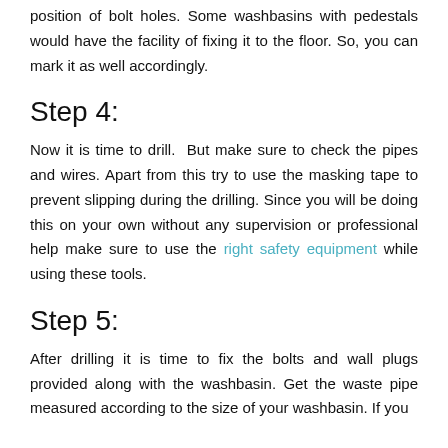position of bolt holes. Some washbasins with pedestals would have the facility of fixing it to the floor. So, you can mark it as well accordingly.
Step 4:
Now it is time to drill. But make sure to check the pipes and wires. Apart from this try to use the masking tape to prevent slipping during the drilling. Since you will be doing this on your own without any supervision or professional help make sure to use the right safety equipment while using these tools.
Step 5:
After drilling it is time to fix the bolts and wall plugs provided along with the washbasin. Get the waste pipe measured according to the size of your washbasin. If you